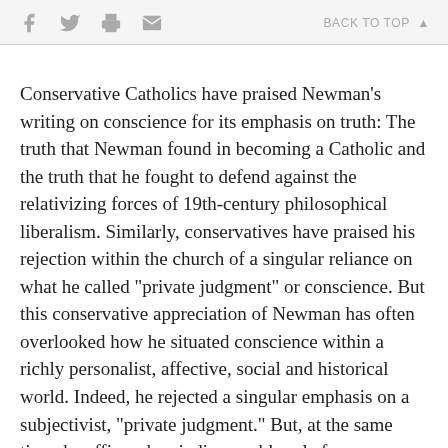f  [twitter]  [print]  [email]  BACK TO TOP ▲
Conservative Catholics have praised Newman's writing on conscience for its emphasis on truth: The truth that Newman found in becoming a Catholic and the truth that he fought to defend against the relativizing forces of 19th-century philosophical liberalism. Similarly, conservatives have praised his rejection within the church of a singular reliance on what he called "private judgment" or conscience. But this conservative appreciation of Newman has often overlooked how he situated conscience within a richly personalist, affective, social and historical world. Indeed, he rejected a singular emphasis on a subjectivist, "private judgment." But, at the same time, he affirmed an indispensable role for conscience in the life of the church when he said: "Catholic Christendom is no simple exhibition of religious absolutism, but presents a continuous picture of